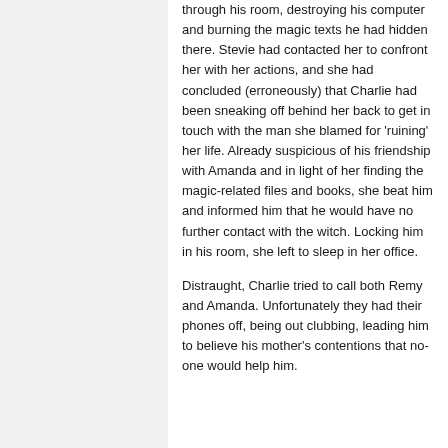through his room, destroying his computer and burning the magic texts he had hidden there. Stevie had contacted her to confront her with her actions, and she had concluded (erroneously) that Charlie had been sneaking off behind her back to get in touch with the man she blamed for 'ruining' her life. Already suspicious of his friendship with Amanda and in light of her finding the magic-related files and books, she beat him and informed him that he would have no further contact with the witch. Locking him in his room, she left to sleep in her office.
Distraught, Charlie tried to call both Remy and Amanda. Unfortunately they had their phones off, being out clubbing, leading him to believe his mother's contentions that no-one would help him.